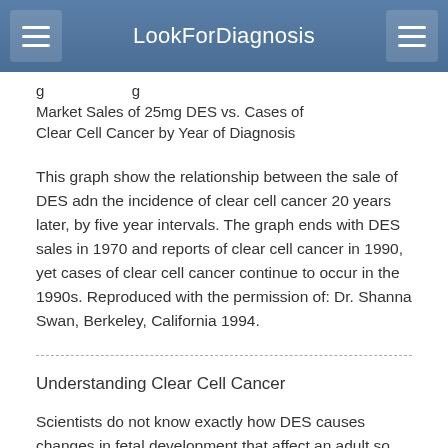LookForDiagnosis
Market Sales of 25mg DES vs. Cases of Clear Cell Cancer by Year of Diagnosis
This graph show the relationship between the sale of DES adn the incidence of clear cell cancer 20 years later, by five year intervals. The graph ends with DES sales in 1970 and reports of clear cell cancer in 1990, yet cases of clear cell cancer continue to occur in the 1990s. Reproduced with the permission of: Dr. Shanna Swan, Berkeley, California 1994.
Understanding Clear Cell Cancer
Scientists do not know exactly how DES causes changes in fetal development that affect an adult so many years after birth. It is thought that exposure of the fetus to the estrogen DES, during